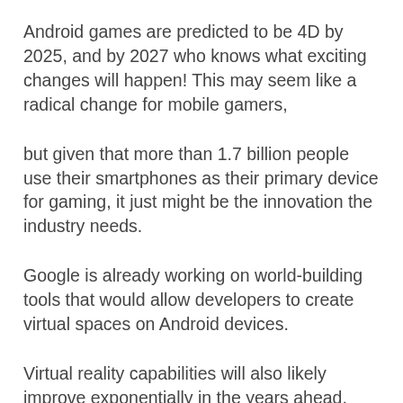Android games are predicted to be 4D by 2025, and by 2027 who knows what exciting changes will happen! This may seem like a radical change for mobile gamers,
but given that more than 1.7 billion people use their smartphones as their primary device for gaming, it just might be the innovation the industry needs.
Google is already working on world-building tools that would allow developers to create virtual spaces on Android devices.
Virtual reality capabilities will also likely improve exponentially in the years ahead, meaning Android Games could start shifting away from their strictly 2